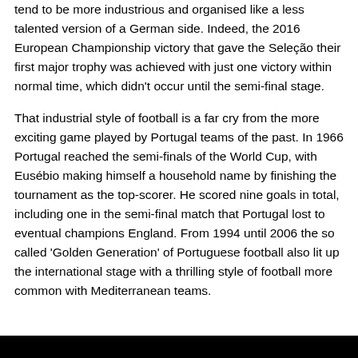tend to be more industrious and organised like a less talented version of a German side. Indeed, the 2016 European Championship victory that gave the Seleção their first major trophy was achieved with just one victory within normal time, which didn't occur until the semi-final stage.
That industrial style of football is a far cry from the more exciting game played by Portugal teams of the past. In 1966 Portugal reached the semi-finals of the World Cup, with Eusébio making himself a household name by finishing the tournament as the top-scorer. He scored nine goals in total, including one in the semi-final match that Portugal lost to eventual champions England. From 1994 until 2006 the so called 'Golden Generation' of Portuguese football also lit up the international stage with a thrilling style of football more common with Mediterranean teams.